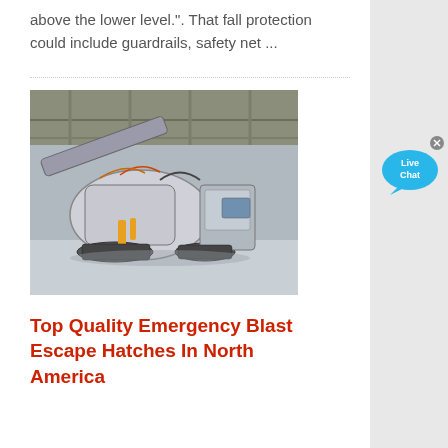above the lower level.". That fall protection could include guardrails, safety net ...
[Figure (photo): Large industrial mobile crushing/screening machine photographed inside a large warehouse or factory facility with high ceiling and grey floor.]
Top Quality Emergency Blast Escape Hatches In North America